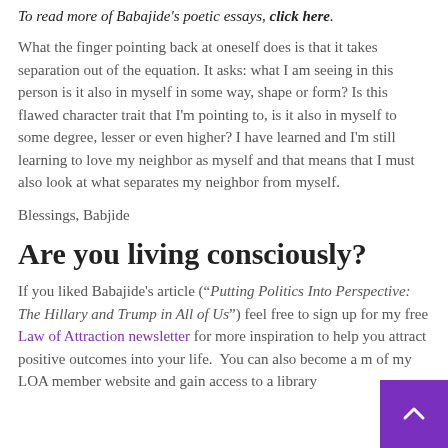To read more of Babajide's poetic essays, click here.
What the finger pointing back at oneself does is that it takes separation out of the equation. It asks: what I am seeing in this person is it also in myself in some way, shape or form? Is this flawed character trait that I'm pointing to, is it also in myself to some degree, lesser or even higher? I have learned and I'm still learning to love my neighbor as myself and that means that I must also look at what separates my neighbor from myself.
Blessings, Babjide
Are you living consciously?
If you liked Babajide's article (“Putting Politics Into Perspective: The Hillary and Trump in All of Us”) feel free to sign up for my free Law of Attraction newsletter for more inspiration to help you attract positive outcomes into your life.  You can also become a m of my LOA member website and gain access to a library